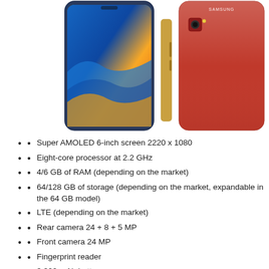[Figure (photo): Samsung Galaxy A7 smartphone shown from front (blue, with colorful wave wallpaper), side (gold/rose gold edge), and back (pink/red color with Samsung logo)]
Super AMOLED 6-inch screen 2220 x 1080
Eight-core processor at 2.2 GHz
4/6 GB of RAM (depending on the market)
64/128 GB of storage (depending on the market, expandable in the 64 GB model)
LTE (depending on the market)
Rear camera 24 + 8 + 5 MP
Front camera 24 MP
Fingerprint reader
3,300 mAh battery